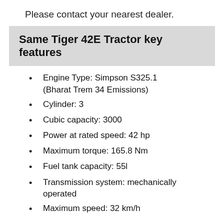Please contact your nearest dealer.
Same Tiger 42E Tractor key features
Engine Type: Simpson S325.1 (Bharat Trem 34 Emissions)
Cylinder: 3
Cubic capacity: 3000
Power at rated speed: 42 hp
Maximum torque: 165.8 Nm
Fuel tank capacity: 55l
Transmission system: mechanically operated
Maximum speed: 32 km/h